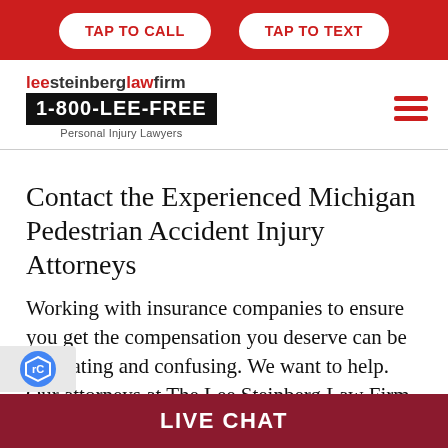TAP TO CALL | TAP TO TEXT
[Figure (logo): Lee Steinberg Law Firm logo with phone number 1-800-LEE-FREE and tagline Personal Injury Lawyers]
Contact the Experienced Michigan Pedestrian Accident Injury Attorneys
Working with insurance companies to ensure you get the compensation you deserve can be frustrating and confusing. We want to help. Our attorneys at The Lee Steinberg Law Firm have represented accident victims for over 40 years e experts in these cases. If you or a loved
LIVE CHAT